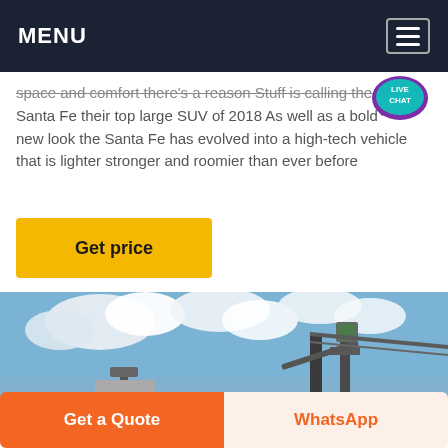MENU
space and comfort there's a reason Stuff is calling the Santa Fe their top large SUV of 2018 As well as a bold new look the Santa Fe has evolved into a high-tech vehicle that is lighter stronger and roomier than ever before
Get price
[Figure (photo): Industrial machinery with conveyor belts against a blue sky with clouds]
Get a Quote
WhatsApp